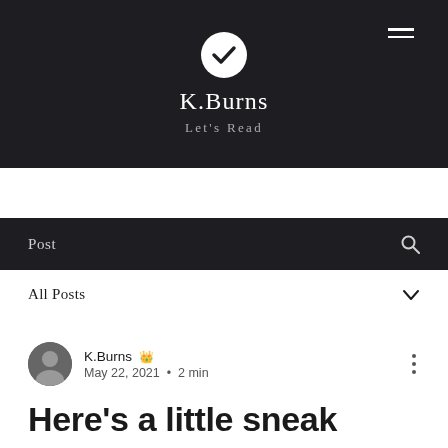K.Burns — Let's Read
Post
All Posts
K.Burns 👑 May 22, 2021 · 2 min
Here's a little sneak